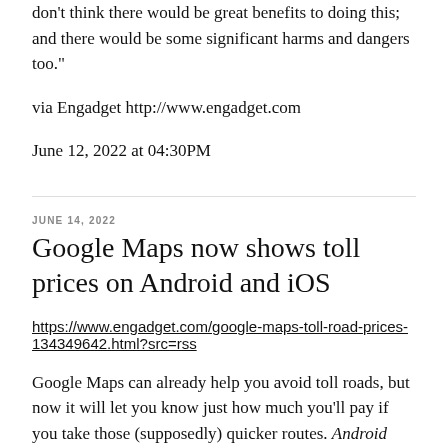don't think there would be great benefits to doing this; and there would be some significant harms and dangers too."
via Engadget http://www.engadget.com
June 12, 2022 at 04:30PM
JUNE 14, 2022
Google Maps now shows toll prices on Android and iOS
https://www.engadget.com/google-maps-toll-road-prices-134349642.html?src=rss
Google Maps can already help you avoid toll roads, but now it will let you know just how much you'll pay if you take those (supposedly) quicker routes. Android